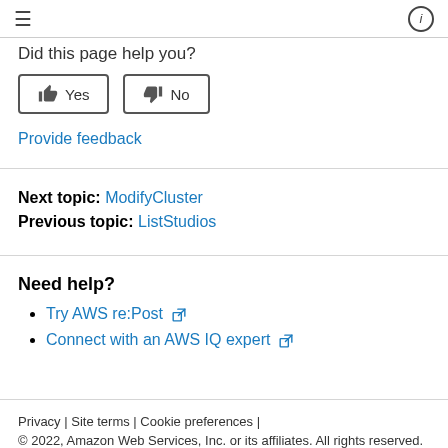≡  ⓘ
Did this page help you?
👍 Yes   👎 No
Provide feedback
Next topic: ModifyCluster
Previous topic: ListStudios
Need help?
Try AWS re:Post ↗
Connect with an AWS IQ expert ↗
Privacy | Site terms | Cookie preferences |
© 2022, Amazon Web Services, Inc. or its affiliates. All rights reserved.